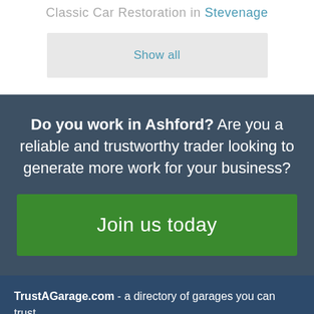Classic Car Restoration in Stevenage
Show all
Do you work in Ashford? Are you a reliable and trustworthy trader looking to generate more work for your business?
Join us today
TrustAGarage.com - a directory of garages you can trust